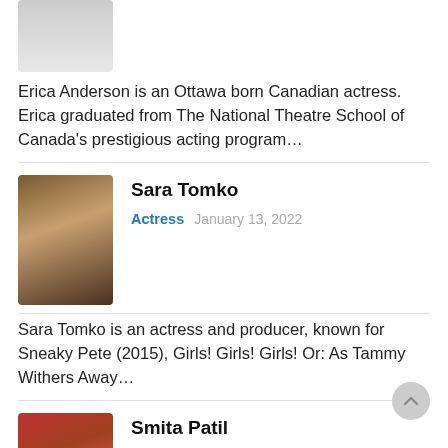[Figure (photo): Partial photo of Erica Anderson, cropped, showing neck/shoulders area]
Erica Anderson is an Ottawa born Canadian actress. Erica graduated from The National Theatre School of Canada's prestigious acting program…
[Figure (photo): Photo of Sara Tomko, a woman with long dark hair wearing a black outfit]
Sara Tomko
Actress   January 13, 2022
Sara Tomko is an actress and producer, known for Sneaky Pete (2015), Girls! Girls! Girls! Or: As Tammy Withers Away…
[Figure (photo): Photo of Smita Patil with colorful background]
Smita Patil
Actress   January 13, 2022